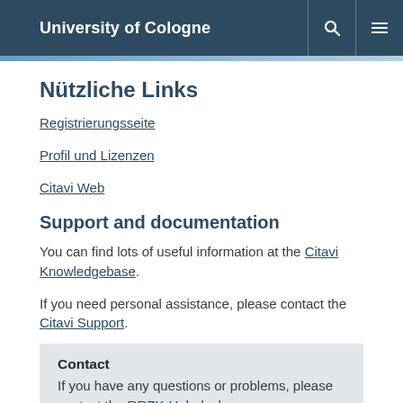University of Cologne
Nützliche Links
Registrierungsseite
Profil und Lizenzen
Citavi Web
Support and documentation
You can find lots of useful information at the Citavi Knowledgebase.
If you need personal assistance, please contact the Citavi Support.
Contact
If you have any questions or problems, please contact the RRZK-Helpdesk